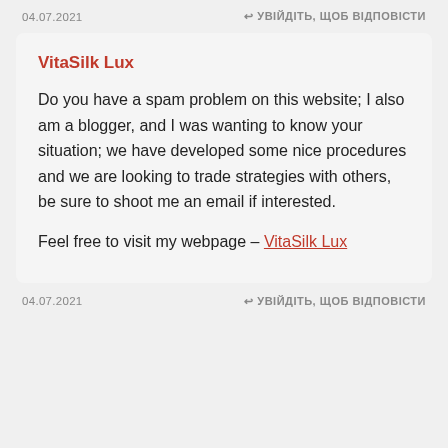04.07.2021   ↩ УВІЙДІТЬ, ЩОБ ВІДПОВІСТИ
VitaSilk Lux
Do you have a spam problem on this website; I also am a blogger, and I was wanting to know your situation; we have developed some nice procedures and we are looking to trade strategies with others, be sure to shoot me an email if interested.
Feel free to visit my webpage – VitaSilk Lux
04.07.2021   ↩ УВІЙДІТЬ, ЩОБ ВІДПОВІСТИ